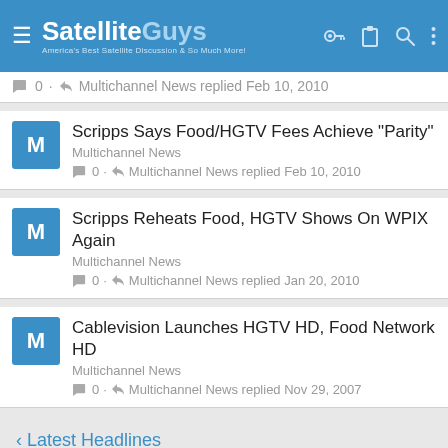SatelliteGuys — America's Best Satellite Discussion & So Much More!
0 · Multichannel News replied Feb 10, 2010
Scripps Says Food/HGTV Fees Achieve "Parity" — Multichannel News — 0 · Multichannel News replied Feb 10, 2010
Scripps Reheats Food, HGTV Shows On WPIX Again — Multichannel News — 0 · Multichannel News replied Jan 20, 2010
Cablevision Launches HGTV HD, Food Network HD — Multichannel News — 0 · Multichannel News replied Nov 29, 2007
< Latest Headlines